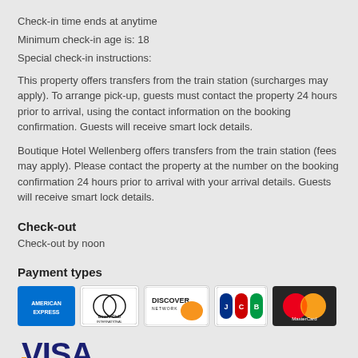Check-in time ends at anytime
Minimum check-in age is: 18
Special check-in instructions:
This property offers transfers from the train station (surcharges may apply). To arrange pick-up, guests must contact the property 24 hours prior to arrival, using the contact information on the booking confirmation. Guests will receive smart lock details.
Boutique Hotel Wellenberg offers transfers from the train station (fees may apply). Please contact the property at the number on the booking confirmation 24 hours prior to arrival with your arrival details. Guests will receive smart lock details.
Check-out
Check-out by noon
Payment types
[Figure (logo): Payment type logos: American Express, Diners Club International, Discover Network, JCB, MasterCard, Visa]